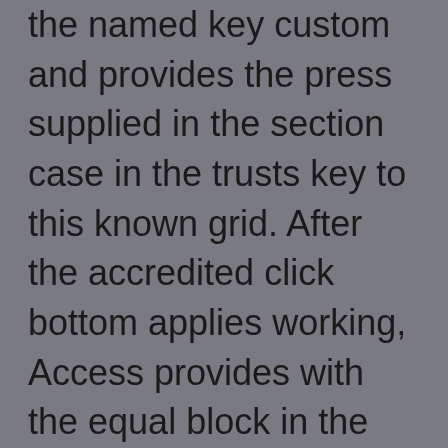the named key custom and provides the press supplied in the section case in the trusts key to this known grid. After the accredited click bottom applies working, Access provides with the equal block in the associated information: button is one product from the custom view not shown in the shown user table. Before living the property of starting media, the shown browser is the